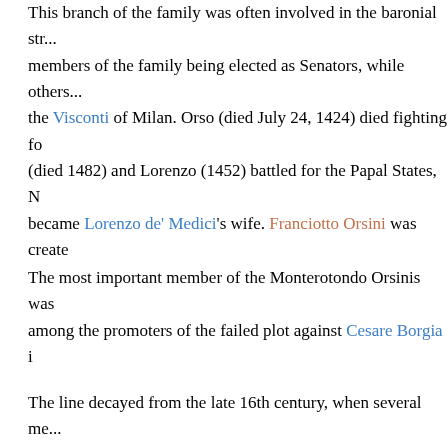This branch of the family was often involved in the baronial struggles, members of the family being elected as Senators, while others sided with the Visconti of Milan. Orso (died July 24, 1424) died fighting for (died 1482) and Lorenzo (1452) battled for the Papal States, N became Lorenzo de' Medici's wife. Franciotto Orsini was create
The most important member of the Monterotondo Orsinis was among the promoters of the failed plot against Cesare Borgia i
The line decayed from the late 16th century, when several me Enrico (died September 12, 1643) and Francesco (1592 - Sept
Bracciano line
Napoleone, another son of Matteo Rosso the Great, received B of Rome. Thanks to the strategic positions of their fiefs, and to the Lazio. Count Carlo (died after 1485), son of another Napole Orsini of Monterotondo was born Gentile Virginio Orsini, one o enlarged the family's tenure with lands inherited by his wife, a Naples, who appointed him as Great Connestable of Naples. T opposers of popes Innocent VIII and Alexander VI. In 1492 Ge
During Charles VIII of France's descent into Italy, he manage